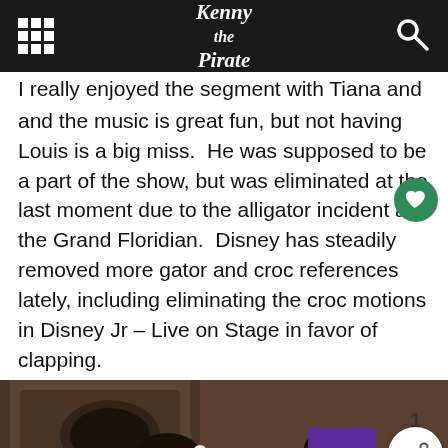Kenny the Pirate
I really enjoyed the segment with Tiana and Naveen and the music is great fun, but not having Louis is a big miss.  He was supposed to be a part of the show, but was eliminated at the last moment due to the alligator incident at the Grand Floridian.  Disney has steadily removed more gator and croc references lately, including eliminating the croc motions in Disney Jr – Live on Stage in favor of clapping.
[Figure (photo): Photo of two performers dressed as Tiana (in green dress with green headband) and Naveen (in purple hat and colorful harlequin jacket, holding a guitar) from The Princess and the Frog, posing in front of an ornate wooden door background.]